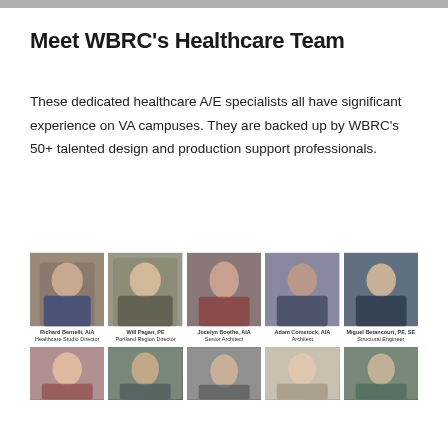Meet WBRC’s Healthcare Team
These dedicated healthcare A/E specialists all have significant experience on VA campuses. They are backed up by WBRC’s 50+ talented design and production support professionals.
[Figure (photo): Grid of professional headshot photos of WBRC Healthcare Team members. Top row: Richard Bernelli AIA Healthcare Studio Director; Will Pagan PE Portland Region Director; Jocelyn Boothe AIA Senior Architect; Adam Comstock AIA Architect; Miguel Betancourt PE SE Structural Engineer. Bottom row (partial): five more team members.]
Richard Bernelli, AIA
Healthcare Studio Director
Will Pagan, PE
Portland Region Director
Jocelyn Boothe, AIA
Senior Architect
Adam Comstock, AIA
Architect
Miguel Betancourt, PE, SE
Structural Engineer